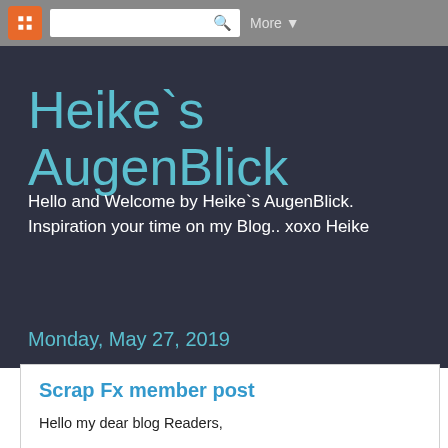Blogger navbar with logo, search bar, and More▼
Heike`s AugenBlick
Hello and Welcome by Heike`s AugenBlick. Inspiration your time on my Blog.. xoxo Heike
Monday, May 27, 2019
Scrap Fx member post
Hello my dear blog Readers,

it is time for my second May post.

I created two art journal pages inspired from the painter

Francis Picabia`s stilhouette paintings.

Very minimalistic and dramatic.